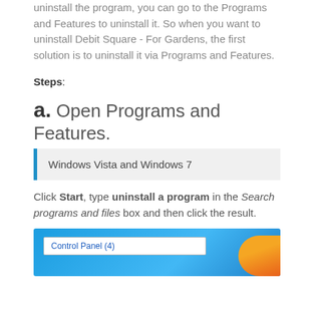uninstall the program, you can go to the Programs and Features to uninstall it. So when you want to uninstall Debit Square - For Gardens, the first solution is to uninstall it via Programs and Features.
Steps:
a. Open Programs and Features.
Windows Vista and Windows 7
Click Start, type uninstall a program in the Search programs and files box and then click the result.
[Figure (screenshot): Windows 7 Start menu search showing Control Panel (4) result]